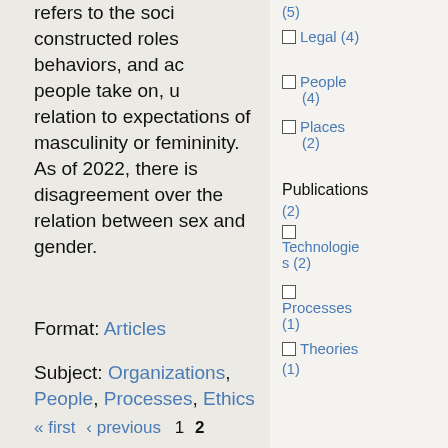refers to the soci constructed roles behaviors, and ac people take on, u relation to expectations of masculinity or femininity. As of 2022, there is disagreement over the relation between sex and gender.
Format: Articles (2)
Subject: Organizations, People, Processes, Ethics
(5)
Legal (4)
People (4)
Places (2)
Publications
Articles (2)
Technologies (2)
Processes (1)
Theories (1)
(1)
« first ‹ previous 1 2